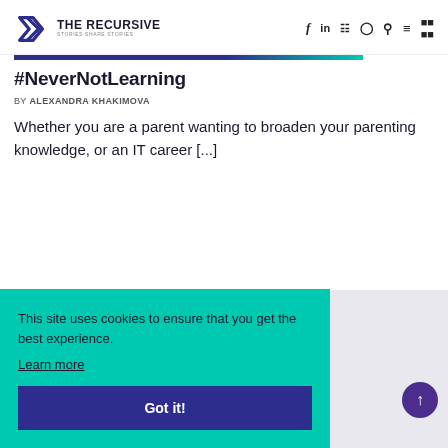THE RECURSIVE — STORIES SHARE STORIES
#NeverNotLearning
BY ALEXANDRA KHAKIMOVA
Whether you are a parent wanting to broaden your parenting knowledge, or an IT career [...]
This site uses cookies to ensure that you get the best experience. Learn more
Got it!